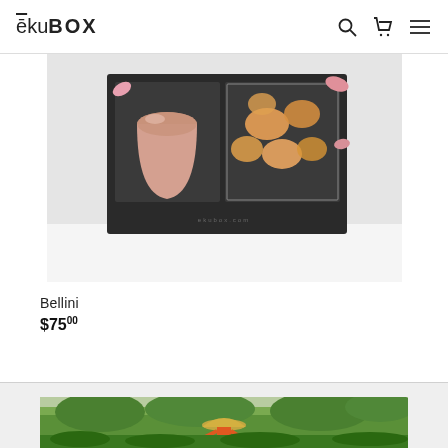ēkuBOX
[Figure (photo): Top-down view of an open black gift box containing a rose gold metallic tumbler/cup on the left and dried peach/apricot slices in a clear container on the right, with pink flower petals scattered around]
Bellini
$75.00
[Figure (photo): Outdoor photo of a person wearing a traditional Asian conical straw hat and orange clothing, standing in a lush green tropical garden or farm]